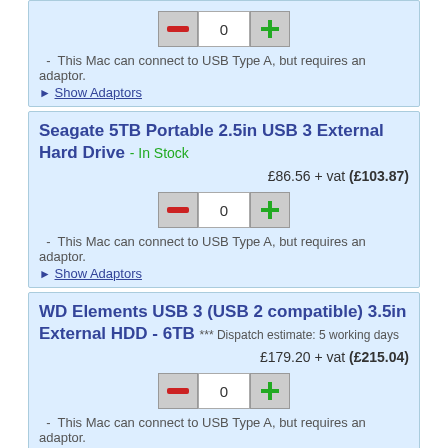[Figure (other): Quantity selector row with minus button, 0 input box, plus button]
- This Mac can connect to USB Type A, but requires an adaptor.
▶ Show Adaptors
Seagate 5TB Portable 2.5in USB 3 External Hard Drive - In Stock
£86.56 + vat (£103.87)
[Figure (other): Quantity selector row with minus button, 0 input box, plus button]
- This Mac can connect to USB Type A, but requires an adaptor.
▶ Show Adaptors
WD Elements USB 3 (USB 2 compatible) 3.5in External HDD - 6TB *** Dispatch estimate: 5 working days
£179.20 + vat (£215.04)
[Figure (other): Quantity selector row with minus button, 0 input box, plus button]
- This Mac can connect to USB Type A, but requires an adaptor.
▶ Show Adaptors
WD Elements USB 3 (USB 2 compatible) 3.5in External HDD -